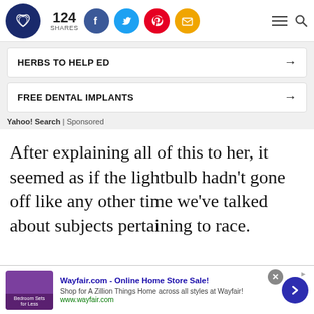[Figure (screenshot): Website header with logo (heart/infinity symbol on dark blue circle), 124 SHARES count, social media icons (Facebook blue, Twitter blue, Pinterest red, Email yellow), hamburger menu and search icon]
[Figure (infographic): Sponsored ad section with two rows: 'HERBS TO HELP ED' with arrow, 'FREE DENTAL IMPLANTS' with arrow, attributed to Yahoo! Search | Sponsored]
After explaining all of this to her, it seemed as if the lightbulb hadn't gone off like any other time we've talked about subjects pertaining to race.
[Figure (screenshot): Bottom banner ad: Wayfair.com - Online Home Store Sale! Shop for A Zillion Things Home across all styles at Wayfair! www.wayfair.com, with close button and forward arrow button]